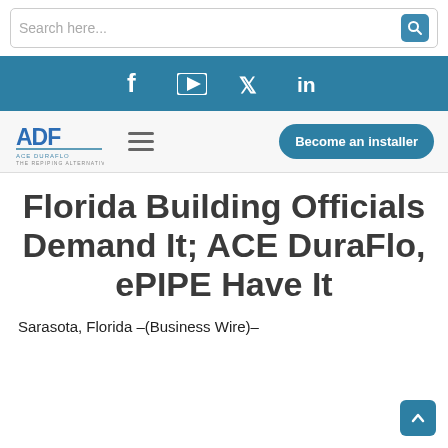Search here...
[Figure (screenshot): Social media icons bar with Facebook, YouTube, Twitter, and LinkedIn icons on a blue background]
[Figure (logo): ACE DuraFlo - The Repiping Alternative logo with ADF initials graphic]
Become an installer
Florida Building Officials Demand It; ACE DuraFlo, ePIPE Have It
Sarasota, Florida –(Business Wire)–